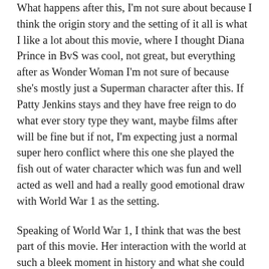What happens after this, I'm not sure about because I think the origin story and the setting of it all is what I like a lot about this movie, where I thought Diana Prince in BvS was cool, not great, but everything after as Wonder Woman I'm not sure of because she's mostly just a Superman character after this. If Patty Jenkins stays and they have free reign to do what ever story type they want, maybe films after will be fine but if not, I'm expecting just a normal super hero conflict where this one she played the fish out of water character which was fun and well acted as well and had a really good emotional draw with World War 1 as the setting.
Speaking of World War 1, I think that was the best part of this movie. Her interaction with the world at such a bleek moment in history and what she could bring to the table. Honestly, fuck that fictional earth for liking Superman more. Did he ever fight in the Great War? No. Her origin in Themyscira and the land they built there was awesome and all kinda made sense and wasn't an absurd story line which was great but once she